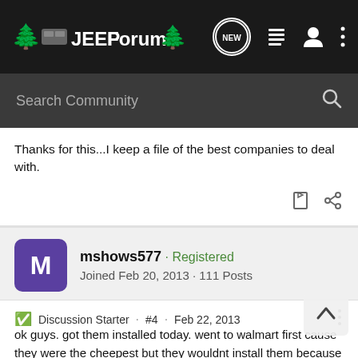JEEPForum
Search Community
Thanks for this...I keep a file of the best companies to deal with.
mshows577 · Registered
Joined Feb 20, 2013 · 111 Posts
Discussion Starter · #4 · Feb 22, 2013
ok guys. got them installed today. went to walmart first cause they were the cheepest but they wouldnt install them because i dont have factory rims. so went to a tire place and he looked at them and said "what tires are these i havent seen this tread before" i told them they were treadwright guard dogs and